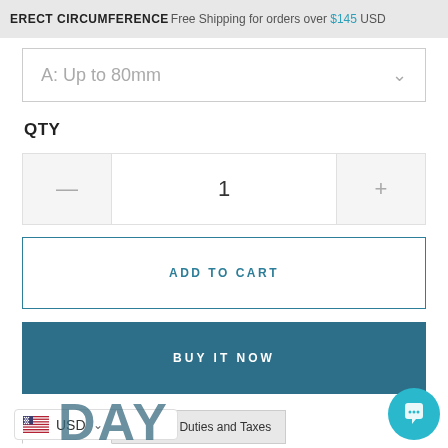ERECT CIRCUMFERENCE  Free Shipping for orders over $145 USD
A: Up to 80mm
QTY
1
ADD TO CART
BUY IT NOW
Description
Shipping, Duties and Taxes
USD